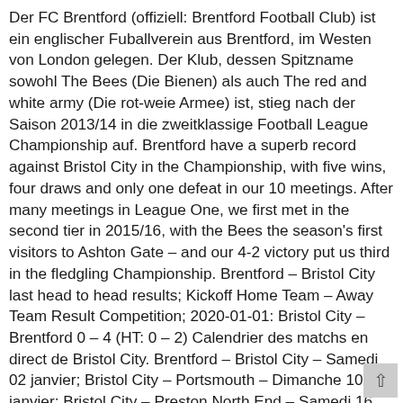Der FC Brentford (offiziell: Brentford Football Club) ist ein englischer Fuballverein aus Brentford, im Westen von London gelegen. Der Klub, dessen Spitzname sowohl The Bees (Die Bienen) als auch The red and white army (Die rot-weie Armee) ist, stieg nach der Saison 2013/14 in die zweitklassige Football League Championship auf. Brentford have a superb record against Bristol City in the Championship, with five wins, four draws and only one defeat in our 10 meetings. After many meetings in League One, we first met in the second tier in 2015/16, with the Bees the season's first visitors to Ashton Gate – and our 4-2 victory put us third in the fledgling Championship. Brentford – Bristol City last head to head results; Kickoff Home Team – Away Team Result Competition; 2020-01-01: Bristol City – Brentford 0 – 4 (HT: 0 – 2) Calendrier des matchs en direct de Bristol City. Brentford – Bristol City – Samedi 02 janvier; Bristol City – Portsmouth – Dimanche 10 janvier; Bristol City – Preston North End – Samedi 16 janvier; Norwich City – Bristol City – Mercredi 20 janvier; Bristol City – Huddersfield Town – Dimanche 24 janvier Brentford Bristol City live score (and video online live stream*) starts on 2 Jan 2021 at 15:00 UTC time in Championship – England. Here on SofaScore